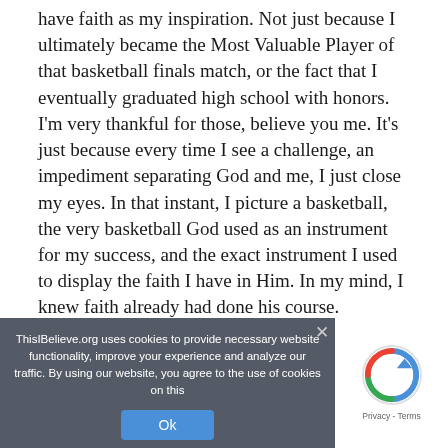have faith as my inspiration. Not just because I ultimately became the Most Valuable Player of that basketball finals match, or the fact that I eventually graduated high school with honors. I'm very thankful for those, believe you me. It's just because every time I see a challenge, an impediment separating God and me, I just close my eyes. In that instant, I picture a basketball, the very basketball God used as an instrument for my success, and the exact instrument I used to display the faith I have in Him. In my mind, I knew faith already had done his course.
ThisIBelieve.org uses cookies to provide necessary website functionality, improve your experience and analyze our traffic. By using our website, you agree to the use of cookies on this